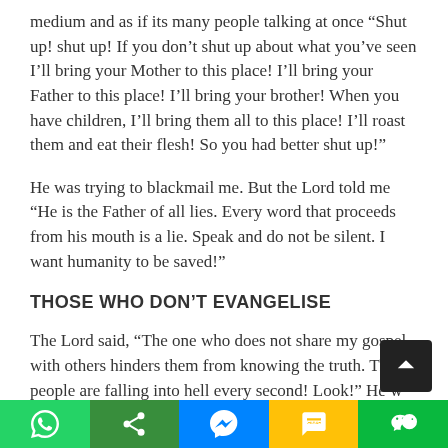medium and as if its many people talking at once “Shut up! shut up! If you don’t shut up about what you’ve seen I’ll bring your Mother to this place! I’ll bring your Father to this place! I’ll bring your brother! When you have children, I’ll bring them all to this place! I’ll roast them and eat their flesh! So you had better shut up!”
He was trying to blackmail me. But the Lord told me “He is the Father of all lies. Every word that proceeds from his mouth is a lie. Speak and do not be silent. I want humanity to be saved!”
THOSE WHO DON’T EVANGELISE
The Lord said, “The one who does not share my gospel with others hinders them from knowing the truth. Those people are falling into hell every second! Look!” He w His hand and I saw COUNTLESS multitudes. Like NAT
[Figure (other): Scroll-to-top button (dark square with up arrow chevron)]
[Figure (other): Social sharing footer bar with five icons: WhatsApp (green), Share (dark green), Messenger (blue), SMS (yellow/orange), WeChat (green)]